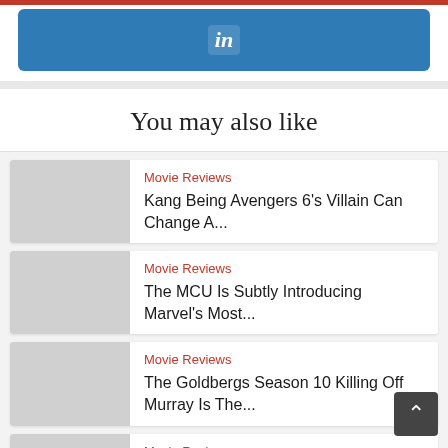[Figure (logo): LinkedIn share button, blue background with 'in' icon]
You may also like
Movie Reviews
Kang Being Avengers 6's Villain Can Change A...
Movie Reviews
The MCU Is Subtly Introducing Marvel's Most...
Movie Reviews
The Goldbergs Season 10 Killing Off Murray Is The...
Movie Reviews